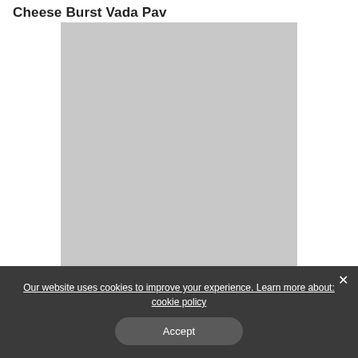Cheese Burst Vada Pav
[Figure (photo): Placeholder image area for Cheese Burst Vada Pav, shown as grey rectangle]
Our website uses cookies to improve your experience. Learn more about: cookie policy
Accept